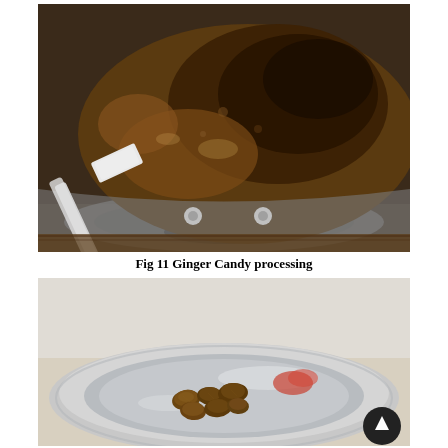[Figure (photo): Ginger candy processing in a pan on a stove, with a spatula stirring dark brown caramelized ginger mixture]
Fig 11 Ginger Candy processing
[Figure (photo): Finished ginger candy pieces in a stainless steel plate, showing small brown chunky pieces of ginger candy]